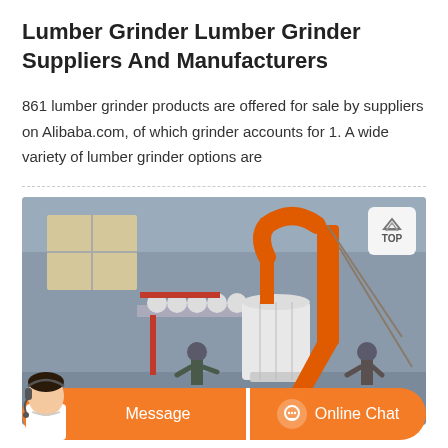Lumber Grinder Lumber Grinder Suppliers And Manufacturers
861 lumber grinder products are offered for sale by suppliers on Alibaba.com, of which grinder accounts for 1. A wide variety of lumber grinder options are
[Figure (photo): Industrial lumber grinder machine installed inside a factory building. Large white cylindrical grinder unit with orange cyclone dust collector pipe on top. Workers visible near the machine. Window visible on left wall. TOP navigation button overlay in upper right corner.]
[Figure (infographic): Orange chat bar at the bottom of the page with a customer service representative avatar on the left. Two buttons: 'Message' on the left and 'Online Chat' with a chat icon on the right.]